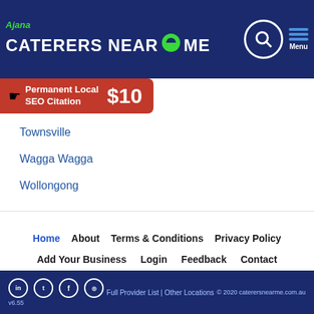Ajana CATERERS NEAR ME
[Figure (screenshot): Ad banner: Permanent Local SEO Citation $10]
Townsville
Wagga Wagga
Wollongong
Home | About | Terms & Conditions | Privacy Policy | Add Your Business | Login | Feedback | Contact
Full Provider List | Other Locations | © 2020 caterersnearme.com.au | v6.55